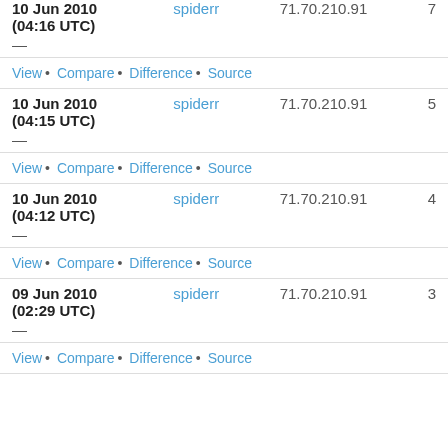10 Jun 2010 (04:16 UTC) — spiderr 71.70.210.91 7
View • Compare • Difference • Source
10 Jun 2010 (04:15 UTC) — spiderr 71.70.210.91 5
View • Compare • Difference • Source
10 Jun 2010 (04:12 UTC) — spiderr 71.70.210.91 4
View • Compare • Difference • Source
09 Jun 2010 (02:29 UTC) — spiderr 71.70.210.91 3
View • Compare • Difference • Source